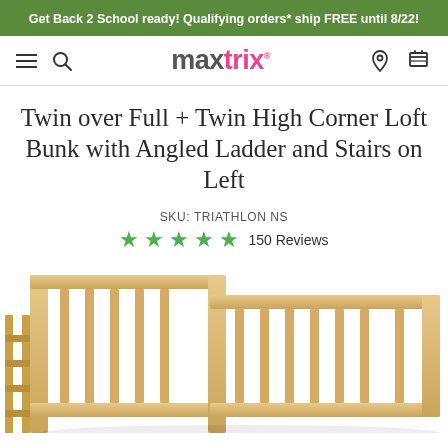Get Back 2 School ready! Qualifying orders* ship FREE until 8/22!
maxtrix® — navigation header with hamburger, search, location, and cart icons
Twin over Full + Twin High Corner Loft Bunk with Angled Ladder and Stairs on Left
SKU: TRIATHLON NS
★★★★★ 150 Reviews
[Figure (photo): Bottom portion of a natural wood corner loft bunk bed frame, showing slat details and frame structure on a white background.]